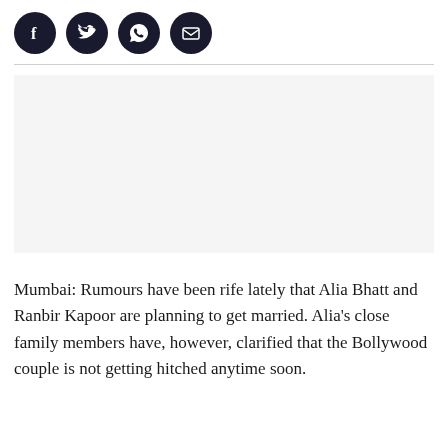[Figure (other): Social media sharing icons: Facebook, Twitter, WhatsApp, Email — each as a dark circular button]
[Figure (photo): Large rectangular image placeholder with light gray background]
Mumbai: Rumours have been rife lately that Alia Bhatt and Ranbir Kapoor are planning to get married. Alia's close family members have, however, clarified that the Bollywood couple is not getting hitched anytime soon.